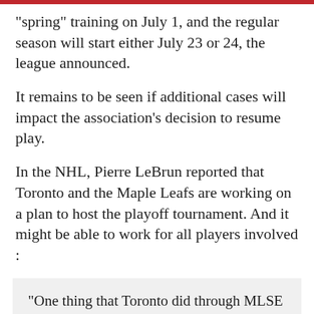“spring” training on July 1, and the regular season will start either July 23 or 24, the league announced.
It remains to be seen if additional cases will impact the association’s decision to resume play.
In the NHL, Pierre LeBrun reported that Toronto and the Maple Leafs are working on a plan to host the playoff tournament. And it might be able to work for all players involved :
“One thing that Toronto did through MLSE is they resubmitted their bid over the weekend. They’ve gone from sort of a downtown core